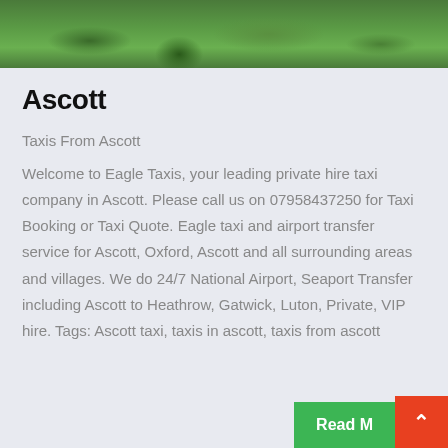[Figure (photo): Outdoor green grass landscape photo strip at the top of the page]
Ascott
Taxis From Ascott
Welcome to Eagle Taxis, your leading private hire taxi company in Ascott. Please call us on 07958437250 for Taxi Booking or Taxi Quote. Eagle taxi and airport transfer service for Ascott, Oxford, Ascott and all surrounding areas and villages. We do 24/7 National Airport, Seaport Transfer including Ascott to Heathrow, Gatwick, Luton, Private, VIP hire. Tags: Ascott taxi, taxis in ascott, taxis from ascott